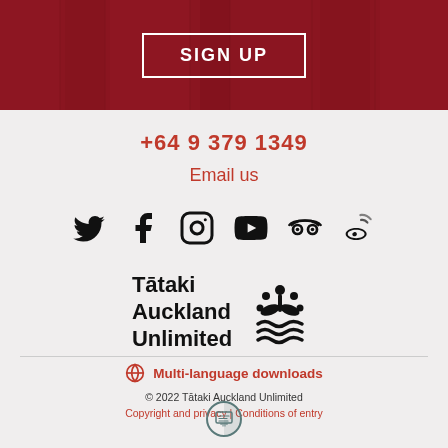[Figure (photo): Red hero banner with SIGN UP button]
+64 9 379 1349
Email us
[Figure (illustration): Row of social media icons: Twitter, Facebook, Instagram, YouTube, TripAdvisor, Weibo]
[Figure (logo): Tātaki Auckland Unlimited logo with stylized plant/wave icon]
Multi-language downloads
© 2022 Tātaki Auckland Unlimited
Copyright and privacy | Conditions of entry
[Figure (logo): Accessibility/screen reader icon circle]